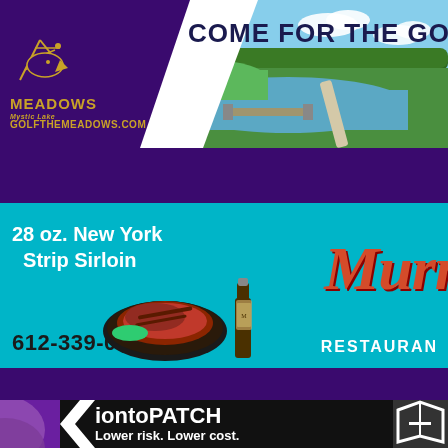[Figure (photo): The Meadows at Mystic Lake golf course advertisement with logo, golf course photo, text 'COME FOR THE GOLF, S' and website GOLFTHEMEADOWS.COM]
[Figure (photo): Murray's Restaurant advertisement with 28 oz. New York Strip Sirloin, food photo, wine bottle, phone number 612-339-0909, and restaurant name]
[Figure (infographic): iontoPATCH advertisement with purple graphic, white arrows, text 'iontoPATCH Lower risk. Lower cost.']